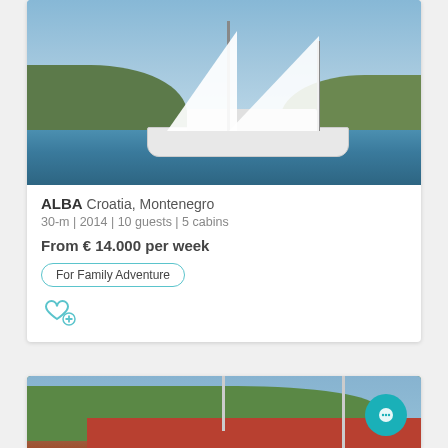[Figure (photo): Sailboat named ALBA sailing on blue water with rocky hillside in background, white sails raised, sunny day]
ALBA Croatia, Montenegro
30-m | 2014 | 10 guests | 5 cabins
From € 14.000 per week
For Family Adventure
[Figure (photo): Partial view of another sailing vessel with red sails/hull, green tree-covered hillside background]